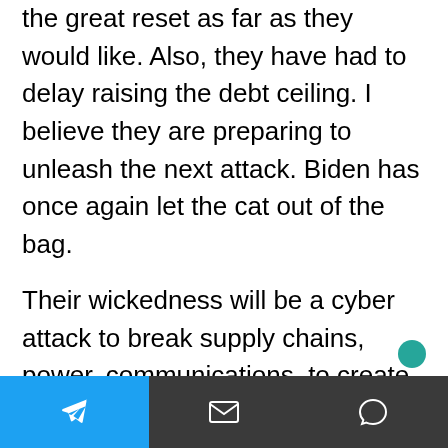the great reset as far as they would like. Also, they have had to delay raising the debt ceiling. I believe they are preparing to unleash the next attack. Biden has once again let the cat out of the bag.
Their wickedness will be a cyber attack to break supply chains, power, communications, to create the Dark Winter as previously planned. They seem to have upped the stakes because Biden is warning us about a kinetic war. Wars are very expensive and the elites are not on the side of the US. Wars do not happen without the backing of the Rothschilds. The Rothschilds and the
[Telegram icon] [envelope icon] [speech bubble icon]